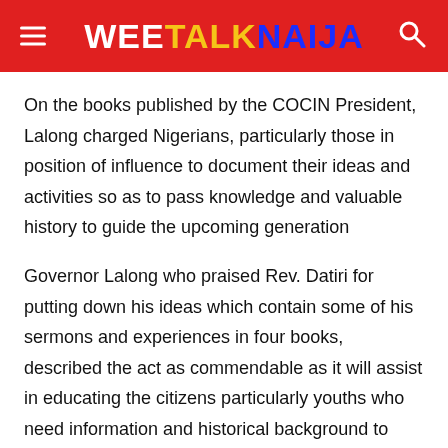WEE TALK NAIJA
On the books published by the COCIN President, Lalong charged Nigerians, particularly those in position of influence to document their ideas and activities so as to pass knowledge and valuable history to guide the upcoming generation
Governor Lalong who praised Rev. Datiri for putting down his ideas which contain some of his sermons and experiences in four books, described the act as commendable as it will assist in educating the citizens particularly youths who need information and historical background to many issues.
READ ALSO  I Will Fight Till South Gets Governorship Seat, Says Former Cross River Deputy Speaker Who